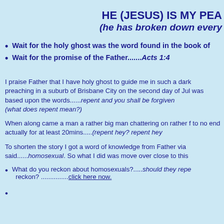HE (JESUS) IS MY PEA (he has broken down every
Wait for the holy ghost was the word found in the book of
Wait for the promise of the Father........Acts 1:4
I praise Father that I have holy ghost to guide me in such a dark preaching in a suburb of Brisbane City on the second day of Jul was based upon the words......repent and you shall be forgiven (what does repent mean?)
When along came a man a rather big man chattering on rather f to no end actually for at least 20mins.....(repent hey? repent hey
To shorten the story I got a word of knowledge from Father via said......homosexual. So what I did was move over close to this
What do you reckon about homosexuals?.....should they repe reckon? ...............click here now.